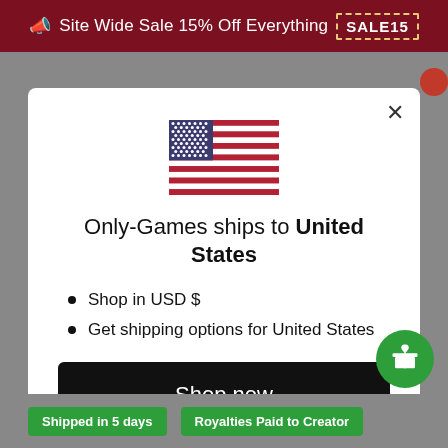📣 Site Wide Sale 15% Off Everything SALE15
[Figure (illustration): US flag icon centered in modal]
Only-Games ships to United States
Shop in USD $
Get shipping options for United States
Shop now
Change shipping country
Shipped in 5 days
Royalties Paid to Creator